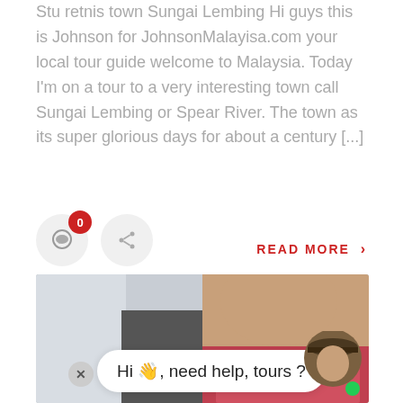Stu retnis town Sungai Lembing Hi guys this is Johnson for JohnsonMalayisa.com your local tour guide welcome to Malaysia. Today I'm on a tour to a very interesting town call Sungai Lembing or Spear River. The town as its super glorious days for about a century [...]
READ MORE >
[Figure (photo): Photo of a man smiling, wearing a pink floral shirt, with a small bottle in front, and a chat UI overlay showing 'Hi 👋, need help, tours ?' with a close button and avatar icon in the bottom right.]